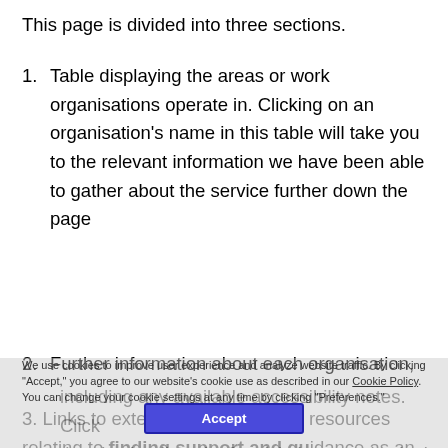This page is divided into three sections.
Table displaying the areas or work organisations operate in. Clicking on an organisation's name in this table will take you to the relevant information we have been able to gather about the service further down the page
Further information about each organisation, including any available accessibility notes. Click the pins leading site for visit the organisation's external website
Links to external directories and resources relating to finding support and guidance as an
We use cookies to improve user experience and analyze website traffic. By clicking "Accept," you agree to our website's cookie use as described in our Cookie Policy. You can change your cookie settings at any time by clicking "Preferences."